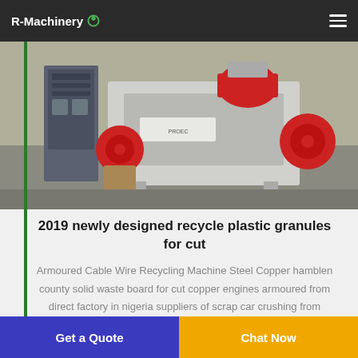R-Machinery
[Figure (photo): Industrial plastic granules recycling/shredding machine with red flywheel components, white metal frame, on a factory floor]
2019 newly designed recycle plastic granules for cut
Armoured Cable Wire Recycling Machine Steel Copper hamblen county solid waste board for cut copper engines armoured from direct factory in nigeria suppliers of scrap car crushing from plastic for sale 2019 newly designed waste board recycling from Gold manufactory of China High Profit